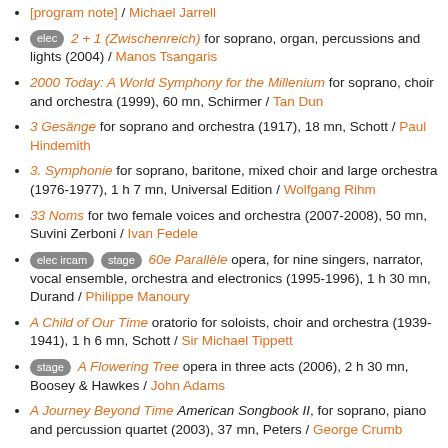[program note] / Michael Jarrell
elec 2 + 1 (Zwischenreich) for soprano, organ, percussions and lights (2004) / Manos Tsangaris
2000 Today: A World Symphony for the Millenium for soprano, choir and orchestra (1999), 60 mn, Schirmer / Tan Dun
3 Gesänge for soprano and orchestra (1917), 18 mn, Schott / Paul Hindemith
3. Symphonie for soprano, baritone, mixed choir and large orchestra (1976-1977), 1 h 7 mn, Universal Edition / Wolfgang Rihm
33 Noms for two female voices and orchestra (2007-2008), 50 mn, Suvini Zerboni / Ivan Fedele
elec ircam stage 60e Parallèle opera, for nine singers, narrator, vocal ensemble, orchestra and electronics (1995-1996), 1 h 30 mn, Durand / Philippe Manoury
A Child of Our Time oratorio for soloists, choir and orchestra (1939-1941), 1 h 6 mn, Schott / Sir Michael Tippett
stage A Flowering Tree opera in three acts (2006), 2 h 30 mn, Boosey & Hawkes / John Adams
A Journey Beyond Time American Songbook II, for soprano, piano and percussion quartet (2003), 37 mn, Peters / George Crumb